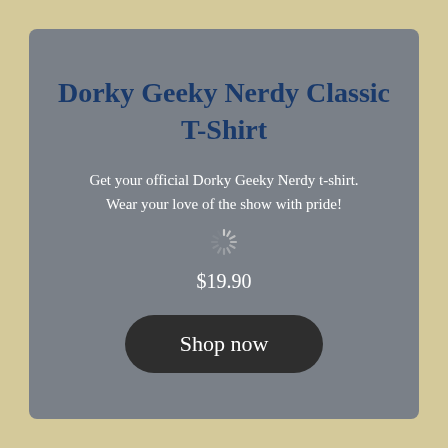Dorky Geeky Nerdy Classic T-Shirt
Get your official Dorky Geeky Nerdy t-shirt. Wear your love of the show with pride!
$19.90
Shop now